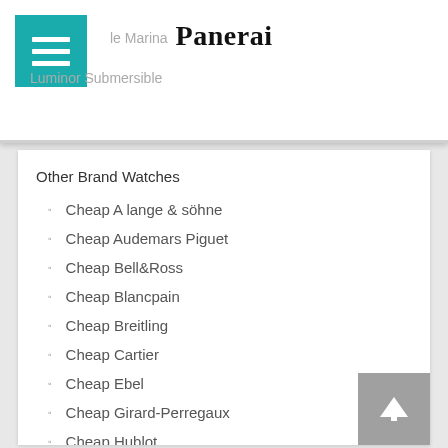Panerai
le Marina
Luminor Submersible
Other Brand Watches
Cheap A lange & söhne
Cheap Audemars Piguet
Cheap Bell&Ross
Cheap Blancpain
Cheap Breitling
Cheap Cartier
Cheap Ebel
Cheap Girard-Perregaux
Cheap Hublot
Cheap IWC